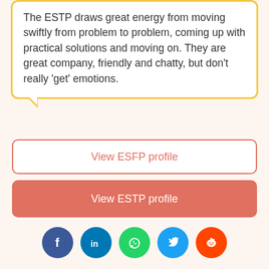The ESTP draws great energy from moving swiftly from problem to problem, coming up with practical solutions and moving on. They are great company, friendly and chatty, but don't really 'get' emotions.
View ESFP profile
View ESTP profile
[Figure (infographic): Social media share icons: Facebook, LinkedIn, WhatsApp, Twitter, Reddit]